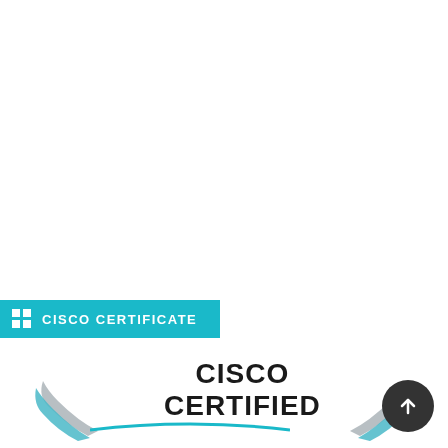[Figure (logo): Cisco Certificate section banner with teal background, grid icon, and text 'CISCO CERTIFICATE' in white bold uppercase letters, followed by a teal horizontal line]
[Figure (logo): Cisco Certified badge graphic with laurel wings on left and right, text 'CISCO CERTIFIED' in bold dark letters, and a teal arc underline. Bottom-right has a dark circular button with an upward arrow.]